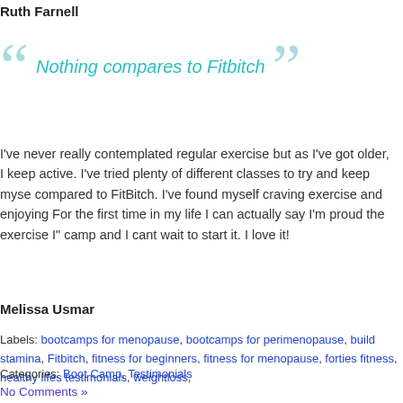Ruth Farnell
Nothing compares to Fitbitch
I've never really contemplated regular exercise but as I've got older, I keep active. I've tried plenty of different classes to try and keep myself compared to FitBitch. I've found myself craving exercise and enjoying it. For the first time in my life I can actually say I'm proud the exercise I" camp and I cant wait to start it. I love it!
Melissa Usmar
Labels: bootcamps for menopause, bootcamps for perimenopause, build stamina, Fitbitch, fitness for beginners, fitness for menopause, forties fitness, healthy lifes, testimonials, weightloss,
Categories: Boot Camp, Testimonials
No Comments »